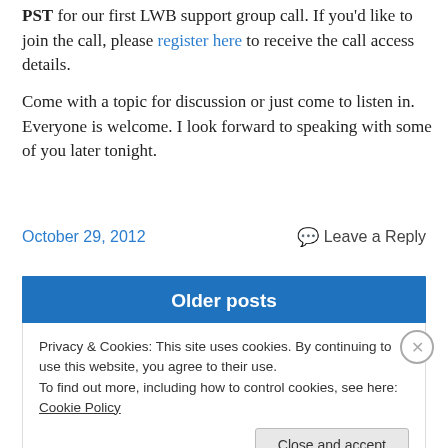PST for our first LWB support group call. If you'd like to join the call, please register here to receive the call access details.
Come with a topic for discussion or just come to listen in. Everyone is welcome. I look forward to speaking with some of you later tonight.
October 29, 2012
Leave a Reply
Older posts
Privacy & Cookies: This site uses cookies. By continuing to use this website, you agree to their use.
To find out more, including how to control cookies, see here: Cookie Policy
Close and accept